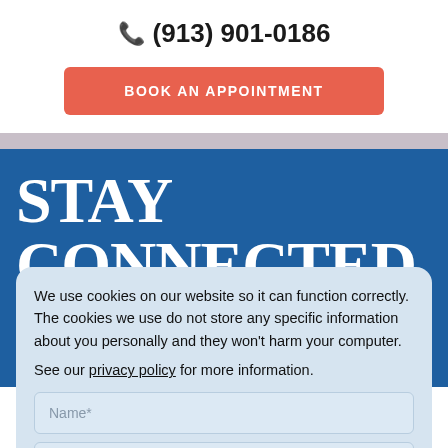(913) 901-0186
BOOK AN APPOINTMENT
STAY CONNECTED
Note: Online forms are only for general inquiries/appointments. Please do not submit any medical questions or your personal health information.
We use cookies on our website so it can function correctly. The cookies we use do not store any specific information about you personally and they won't harm your computer.
See our privacy policy for more information.
Accept